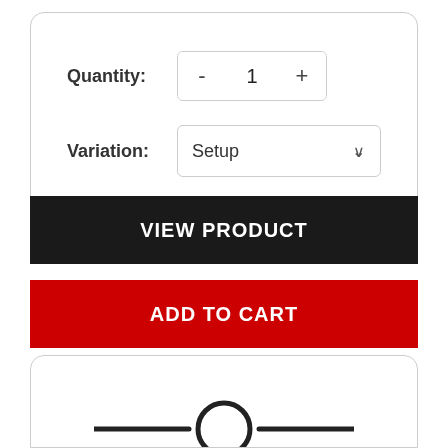Quantity:
- 1 +
Variation:
Setup
VIEW PRODUCT
ADD TO CART
[Figure (illustration): A circular icon resembling a filter or settings knob, with a horizontal line passing through it, partially visible at the bottom of the second card.]